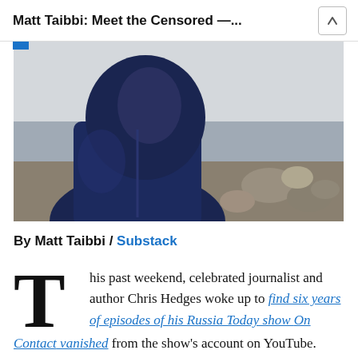Matt Taibbi: Meet the Censored — ...
[Figure (photo): Photo of a person wearing a dark navy blue hooded jacket, standing outdoors near rocks and water]
By Matt Taibbi / Substack
This past weekend, celebrated journalist and author Chris Hedges woke up to find six years of episodes of his Russia Today show On Contact vanished from the show's account on YouTube. Though almost none of the shows referenced Russia or Vladimir Putin directly, and